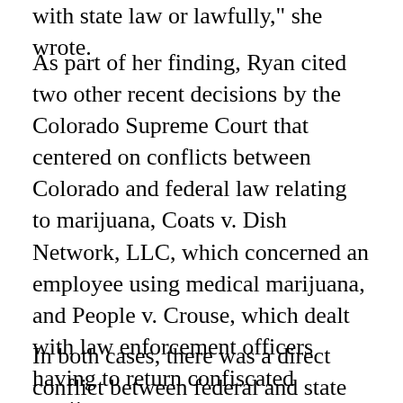with state law or lawfully," she wrote.
As part of her finding, Ryan cited two other recent decisions by the Colorado Supreme Court that centered on conflicts between Colorado and federal law relating to marijuana, Coats v. Dish Network, LLC, which concerned an employee using medical marijuana, and People v. Crouse, which dealt with law enforcement officers having to return confiscated marijuana.
In both cases, there was a direct conflict between federal and state laws, and federal law prevailed.